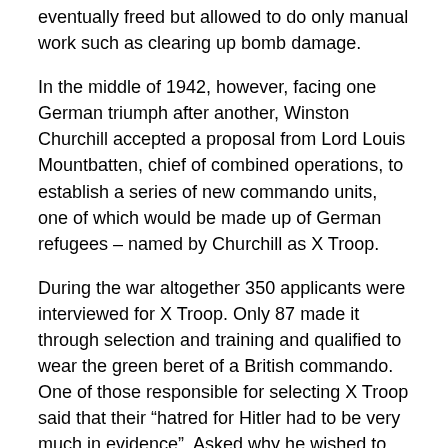eventually freed but allowed to do only manual work such as clearing up bomb damage.
In the middle of 1942, however, facing one German triumph after another, Winston Churchill accepted a proposal from Lord Louis Mountbatten, chief of combined operations, to establish a series of new commando units, one of which would be made up of German refugees – named by Churchill as X Troop.
During the war altogether 350 applicants were interviewed for X Troop. Only 87 made it through selection and training and qualified to wear the green beret of a British commando. One of those responsible for selecting X Troop said that their “hatred for Hitler had to be very much in evidence”. Asked why he wished to join a unit that undertook especially dangerous operations, one applicant said that his “father had been killed in a concentration camp”.
They had to be not only physically fit, but mentally agile too. They had to know more about the German army than most German soldiers knew. A key part of their job would be to interrogate Germans as soon as they captured them instead of sending them back down the lines to headquarters. Their own high intelligence and fluency in German would enable them to make immediate battlefield decisions...